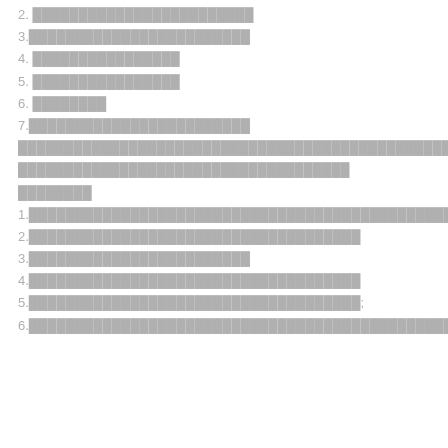2. ████████████████████████
3.████████████████████████
4. ████████████████
5. ████████████████
6. ████████
7.████████████████████████
████████████████████████████████████████████████████████████████████████████████████████████████████████████████
████████████████████████████████████
████████
1.████████████████████████████████████████████████
2.████████████████████████████████████
3.████████████████████████
4.████████████████████████████████████
5.████████████████████████████████████;
6.████████████████████████████████████████████████